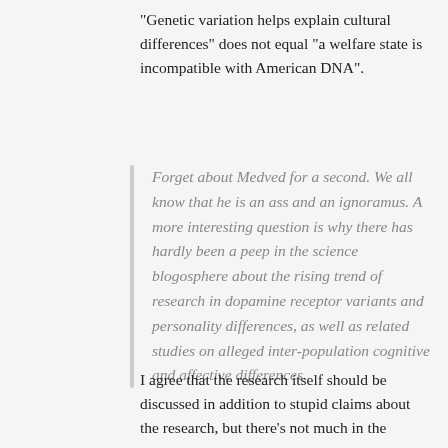"Genetic variation helps explain cultural differences" does not equal "a welfare state is incompatible with American DNA".
Forget about Medved for a second. We all know that he is an ass and an ignoramus. A more interesting question is why there has hardly been a peep in the science blogosphere about the rising trend of research in dopamine receptor variants and personality differences, as well as related studies on alleged inter-population cognitive and affective differences.
I agree that the research itself should be discussed in addition to stupid claims about the research, but there's not much in the